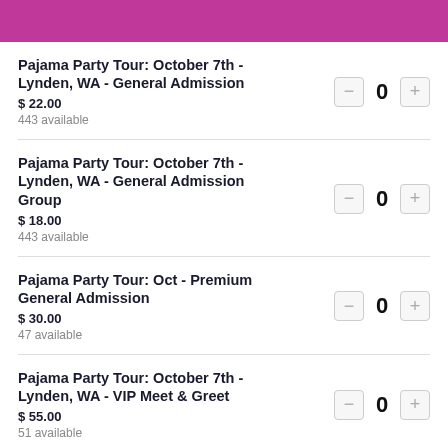[Figure (other): Pink/magenta header bar at top of page]
Pajama Party Tour: October 7th - Lynden, WA - General Admission
$ 22.00
443 available
Pajama Party Tour: October 7th - Lynden, WA - General Admission Group
$ 18.00
443 available
Pajama Party Tour: Oct - Premium General Admission
$ 30.00
47 available
Pajama Party Tour: October 7th - Lynden, WA - VIP Meet & Greet
$ 55.00
51 available
Pajama Party Tour: October 7th - Lynden, WA - VIP & Behind the
0